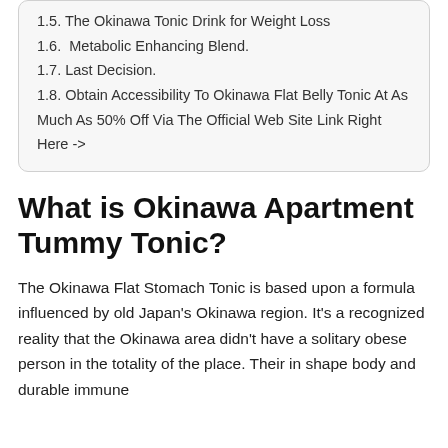1.5. The Okinawa Tonic Drink for Weight Loss
1.6. Metabolic Enhancing Blend.
1.7. Last Decision.
1.8. Obtain Accessibility To Okinawa Flat Belly Tonic At As Much As 50% Off Via The Official Web Site Link Right Here ->
What is Okinawa Apartment Tummy Tonic?
The Okinawa Flat Stomach Tonic is based upon a formula influenced by old Japan's Okinawa region. It's a recognized reality that the Okinawa area didn't have a solitary obese person in the totality of the place. Their in shape body and durable immune